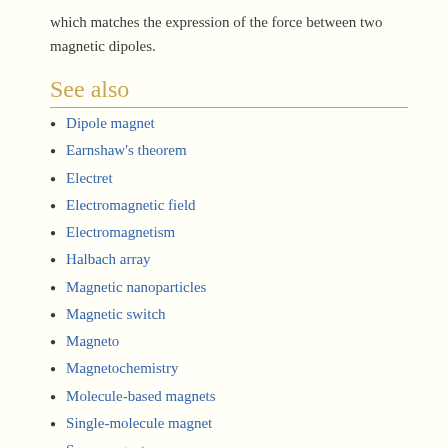which matches the expression of the force between two magnetic dipoles.
See also
Dipole magnet
Earnshaw's theorem
Electret
Electromagnetic field
Electromagnetism
Halbach array
Magnetic nanoparticles
Magnetic switch
Magneto
Magnetochemistry
Molecule-based magnets
Single-molecule magnet
Supermagnet